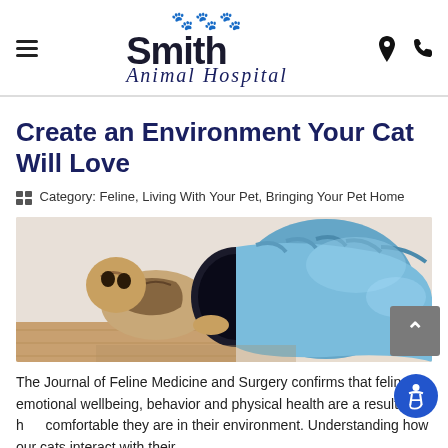Smith Animal Hospital
Create an Environment Your Cat Will Love
Category: Feline, Living With Your Pet, Bringing Your Pet Home
[Figure (photo): A cat crawling through a blue collapsible tunnel toy on a wooden floor]
The Journal of Feline Medicine and Surgery confirms that feline emotional wellbeing, behavior and physical health are a result of how comfortable they are in their environment. Understanding how our cats interact with their